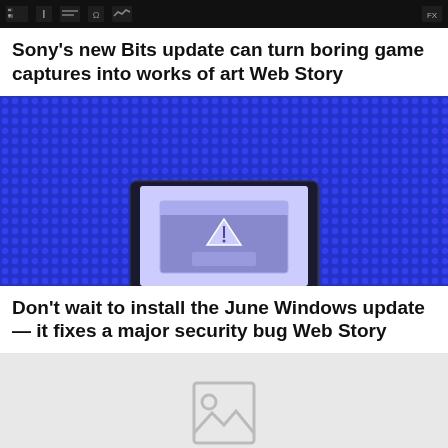[Figure (screenshot): Dark toolbar/header bar showing game capture UI icons on black background]
Sony’s new Bits update can turn boring game captures into works of art Web Story
[Figure (photo): Laptop with a warning dialog box on screen against blue halftone dot pattern background]
Don’t wait to install the June Windows update — it fixes a major security bug Web Story
[Figure (photo): Placeholder image with broken image icon on light gray background]